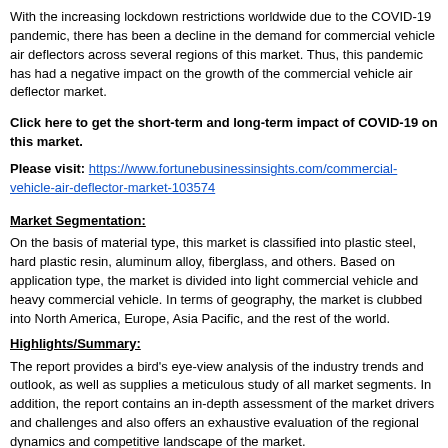With the increasing lockdown restrictions worldwide due to the COVID-19 pandemic, there has been a decline in the demand for commercial vehicle air deflectors across several regions of this market. Thus, this pandemic has had a negative impact on the growth of the commercial vehicle air deflector market.
Click here to get the short-term and long-term impact of COVID-19 on this market.
Please visit: https://www.fortunebusinessinsights.com/commercial-vehicle-air-deflector-market-103574
Market Segmentation:
On the basis of material type, this market is classified into plastic steel, hard plastic resin, aluminum alloy, fiberglass, and others. Based on application type, the market is divided into light commercial vehicle and heavy commercial vehicle. In terms of geography, the market is clubbed into North America, Europe, Asia Pacific, and the rest of the world.
Highlights/Summary:
The report provides a bird's eye-view analysis of the industry trends and outlook, as well as supplies a meticulous study of all market segments. In addition, the report contains an in-depth assessment of the market drivers and challenges and also offers an exhaustive evaluation of the regional dynamics and competitive landscape of the market.
Drivers/Restraints: